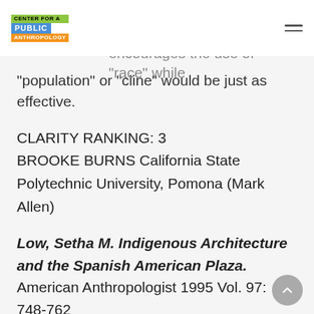Center for a Public Anthropology
“population” or “cline” would be just as effective.
CLARITY RANKING: 3
BROOKE BURNS California State Polytechnic University, Pomona (Mark Allen)
Low, Setha M. Indigenous Architecture and the Spanish American Plaza. American Anthropologist 1995 Vol. 97: 748-762
The built environment is a product of conflicting sociopolitical forces. Architecture represents and reinforces the dominance of